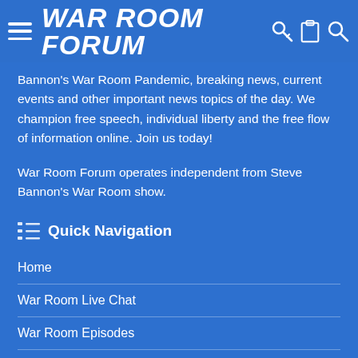WAR ROOM FORUM
Bannon's War Room Pandemic, breaking news, current events and other important news topics of the day. We champion free speech, individual liberty and the free flow of information online. Join us today!
War Room Forum operates independent from Steve Bannon's War Room show.
Quick Navigation
Home
War Room Live Chat
War Room Episodes
Forum Rules
Disclaimer / Copyright